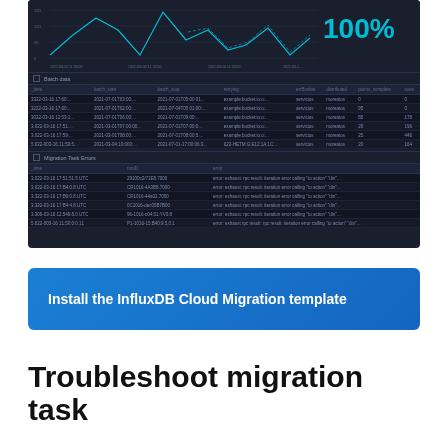[Figure (screenshot): Dark-themed InfluxDB Cloud Migration dashboard screenshot showing a line chart with '100%' in cyan, a 'Batch data' table panel with columns _time, batch_start, batch_stop, retrying, errBucket, distributed, points_complete, rows, and a 'Migration Task Errors' panel with columns _time, runID, error showing multiple error rows.]
Install the InfluxDB Cloud Migration template
Troubleshoot migration task